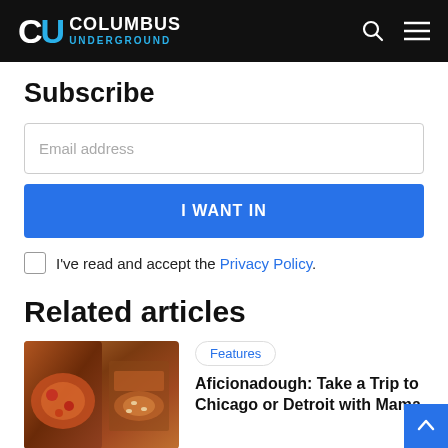Columbus Underground
Subscribe
Email address
I WANT IN
I've read and accept the Privacy Policy.
Related articles
[Figure (photo): Food photo showing pizza and Italian dishes]
Features
Aficionadough: Take a Trip to Chicago or Detroit with Mama